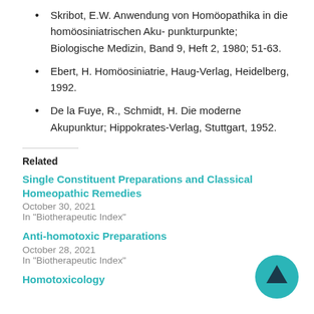Skribot, E.W. Anwendung von Homöopathika in die homöosiniatrischen Aku- punkturpunkte; Biologische Medizin, Band 9, Heft 2, 1980; 51-63.
Ebert, H. Homöosiniatrie, Haug-Verlag, Heidelberg, 1992.
De la Fuye, R., Schmidt, H. Die moderne Akupunktur; Hippokrates-Verlag, Stuttgart, 1952.
Related
Single Constituent Preparations and Classical Homeopathic Remedies
October 30, 2021
In "Biotherapeutic Index"
Anti-homotoxic Preparations
October 28, 2021
In "Biotherapeutic Index"
Homotoxicology